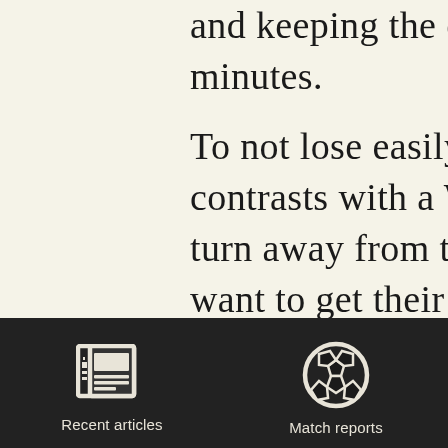and keeping the compo minutes.
To not lose easily perh contrasts with a Walsal turn away from them d want to get their feet w war to puppies in the s and incapable of stopp going away from them would have been to clo
[Figure (other): Dark navigation footer bar with two icons and labels: a newspaper/articles icon labeled 'Recent articles' and a soccer ball icon labeled 'Match reports']